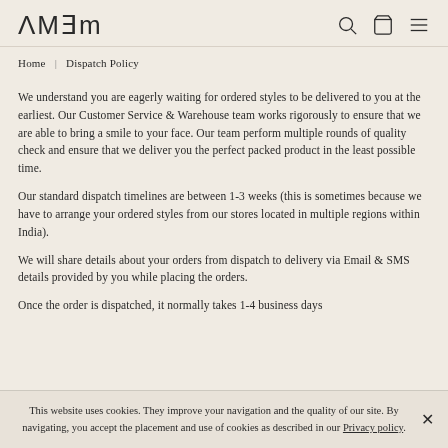AMAM — logo and navigation icons (search, bag, menu)
Home | Dispatch Policy
We understand you are eagerly waiting for ordered styles to be delivered to you at the earliest. Our Customer Service & Warehouse team works rigorously to ensure that we are able to bring a smile to your face. Our team perform multiple rounds of quality check and ensure that we deliver you the perfect packed product in the least possible time.
Our standard dispatch timelines are between 1-3 weeks (this is sometimes because we have to arrange your ordered styles from our stores located in multiple regions within India).
We will share details about your orders from dispatch to delivery via Email & SMS details provided by you while placing the orders.
Once the order is dispatched, it normally takes 1-4 business days
This website uses cookies. They improve your navigation and the quality of our site. By navigating, you accept the placement and use of cookies as described in our Privacy policy.